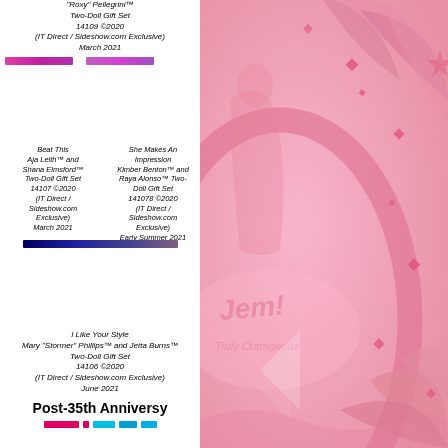"Roxy" Pellegrini™ Two-Doll Gift Set 14109 ©2020 (IT Direct / Sideshow.com Exclusive) March 2021
Beat This Aja Leith™ and Shana Elmsford™ Two-Doll Gift Set 14107 ©2020 (IT Direct / Sideshow.com Exclusive) March 2021
She Makes An Impression Kimber Benton™ and Raya Alonso™ Two-Doll Gift Set 141078 ©2020 (IT Direct / Sideshow.com Exclusive) Early Summer 2021
I Like Your Style Mary "Stormer" Phillips™ and Jetta Burns™ Two-Doll Gift Set 14106 ©2020 (IT Direct / Sideshow.com Exclusive) June 2021
Post-35th Anniversy
[Figure (illustration): Pink illustrated background with Jem and the Holograms themed artwork showing stylized figures, tropical leaves, star shapes, and logo on pink background]